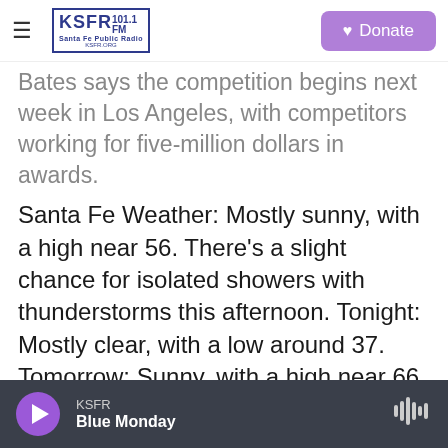KSFR 101.1 FM Santa Fe Public Radio — Donate
Bates says the competition begins next week in Los Angeles, with competitors working for five-million dollars in awards.
Santa Fe Weather: Mostly sunny, with a high near 56. There's a slight chance for isolated showers with thunderstorms this afternoon. Tonight: Mostly clear, with a low around 37. Tomorrow: Sunny, with a high near 66
KSFR Local
[Figure (screenshot): Social sharing icons row: Twitter (blue), LinkedIn (blue), Email (outline)]
KSFR — Blue Monday (player bar)